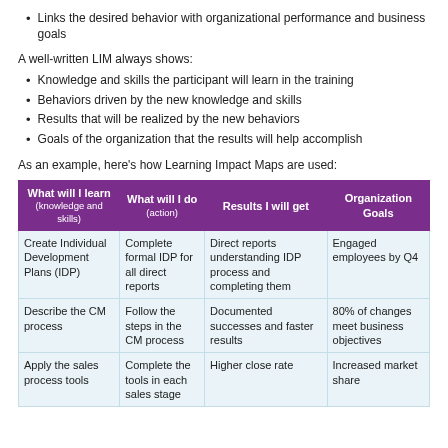Links the desired behavior with organizational performance and business goals
A well-written LIM always shows:
Knowledge and skills the participant will learn in the training
Behaviors driven by the new knowledge and skills
Results that will be realized by the new behaviors
Goals of the organization that the results will help accomplish
As an example, here's how Learning Impact Maps are used:
| What will I learn (knowledge and skills) | What will I do (action) | Results I will get | Organization Goals |
| --- | --- | --- | --- |
| Create Individual Development Plans (IDP) | Complete formal IDP for all direct reports | Direct reports understanding IDP process and completing them | Engaged employees by Q4 |
| Describe the CM process | Follow the steps in the CM process | Documented successes and faster results | 80% of changes meet business objectives |
| Apply the sales process tools | Complete the tools in each sales stage | Higher close rate | Increased market share |